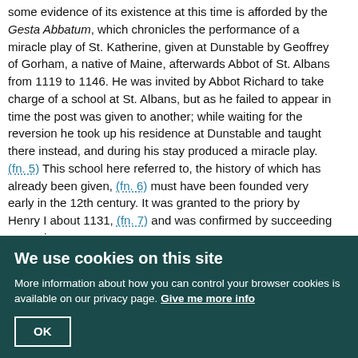some evidence of its existence at this time is afforded by the Gesta Abbatum, which chronicles the performance of a miracle play of St. Katherine, given at Dunstable by Geoffrey of Gorham, a native of Maine, afterwards Abbot of St. Albans from 1119 to 1146. He was invited by Abbot Richard to take charge of a school at St. Albans, but as he failed to appear in time the post was given to another; while waiting for the reversion he took up his residence at Dunstable and taught there instead, and during his stay produced a miracle play. (fn. 5) This school here referred to, the history of which has already been given, (fn. 6) must have been founded very early in the 12th century. It was granted to the priory by Henry I about 1131, (fn. 7) and was confirmed by succeeding sovereigns.
The comparative isolation of the priory and the straightforward plan of the town, which consisted of four main streets with a few others branching off at right angles, simplified the process of nomenclature. Watling Street became North Street and South Street, according to its position with regard to the marketplace, and the Icknield Way East Street and West Street, on the same computation. South of West Street and parallel with it ran a lane called Hallwycke in the 13th century (fn. 8) and Holliwick in the 17th, (fn. 9) connected with South Street by another called Pochonlane, mentioned in
We use cookies on this site
More information about how you can control your browser cookies is available on our privacy page. Give me more info
OK